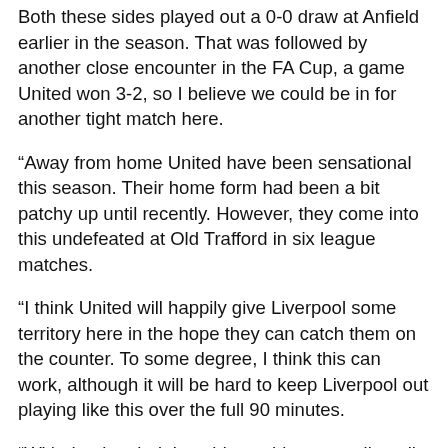Both these sides played out a 0-0 draw at Anfield earlier in the season. That was followed by another close encounter in the FA Cup, a game United won 3-2, so I believe we could be in for another tight match here.
“Away from home United have been sensational this season. Their home form had been a bit patchy up until recently. However, they come into this undefeated at Old Trafford in six league matches.
“I think United will happily give Liverpool some territory here in the hope they can catch them on the counter. To some degree, I think this can work, although it will be hard to keep Liverpool out playing like this over the full 90 minutes.
“With that in mind, I could see this one ending all square with both sides cancelling each other out. Man United 1, Liverpool 1.”
EPL: Michael Owen predicts Man United vs Liverpool, Newcastle vs Arsenal, Chelsea, other games